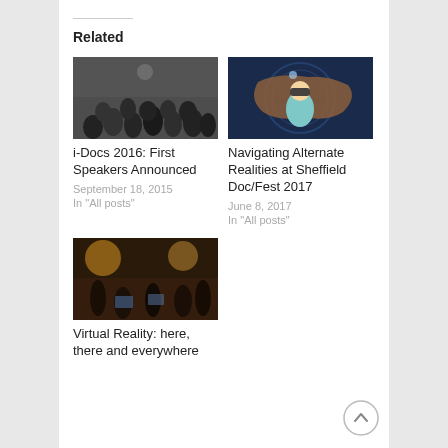Related
[Figure (photo): Black and white photo of a large audience seated in a dark auditorium]
i-Docs 2016: First Speakers Announced
September 18, 2015
In "All posts"
[Figure (illustration): Illustrated cartoon of a person wearing a VR headset with a large map behind them on a dark blue background]
Navigating Alternate Realities at Sheffield Doc/Fest 2017
June 8, 2017
In "All posts"
[Figure (photo): Dark photo of people working on laptops in a dimly lit room with warm lighting]
Virtual Reality: here, there and everywhere